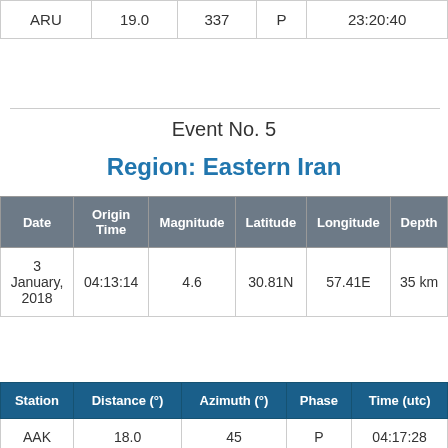| ARU | 19.0 | 337 | P | 23:20:40 |
Event No. 5
Region: Eastern Iran
| Date | Origin Time | Magnitude | Latitude | Longitude | Depth |
| --- | --- | --- | --- | --- | --- |
| 3 January, 2018 | 04:13:14 | 4.6 | 30.81N | 57.41E | 35 km |
| Station | Distance (°) | Azimuth (°) | Phase | Time (utc) |
| --- | --- | --- | --- | --- |
| AAK | 18.0 | 45 | P | 04:17:28 |